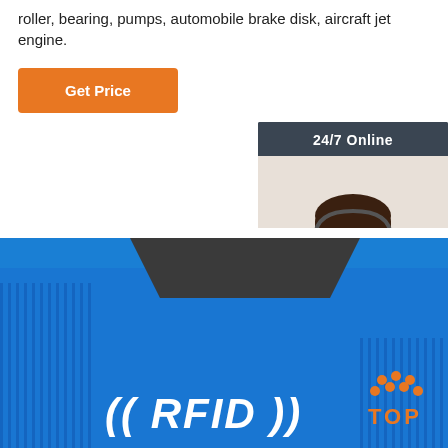roller, bearing, pumps, automobile brake disk, aircraft jet engine.
[Figure (other): Orange 'Get Price' button]
[Figure (other): 24/7 Online customer service widget with photo of woman with headset, 'Click here for free chat!' text, and orange QUOTATION button]
[Figure (photo): Close-up photo of blue RFID cards/wristbands with ((RFID)) text printed on them, with orange TOP logo overlay in bottom right]